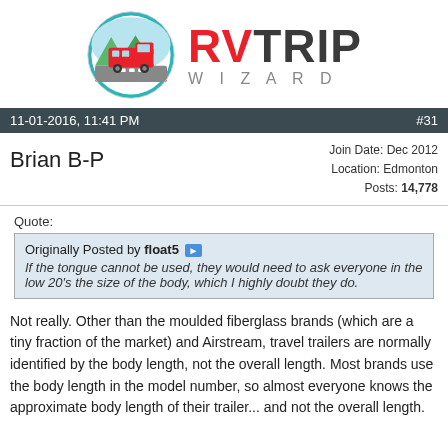[Figure (logo): RV Trip Wizard logo: circular icon with red RV bus on road with mountains, next to bold red and dark text 'RVTRIP' and gray 'WIZARD' subtitle]
11-01-2016, 11:41 PM   #31
Brian B-P
Join Date: Dec 2012
Location: Edmonton
Posts: 14,778
Quote:
Originally Posted by float5 >
If the tongue cannot be used, they would need to ask everyone in the low 20's the size of the body, which I highly doubt they do.
Not really. Other than the moulded fiberglass brands (which are a tiny fraction of the market) and Airstream, travel trailers are normally identified by the body length, not the overall length. Most brands use the body length in the model number, so almost everyone knows the approximate body length of their trailer... and not the overall length.